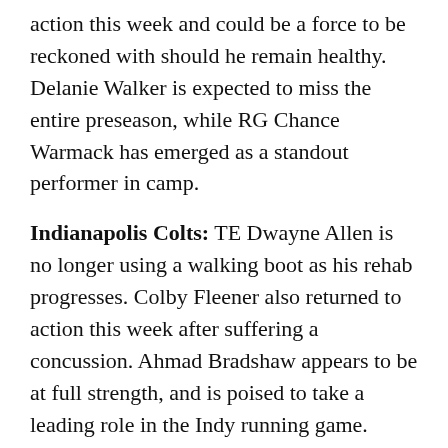action this week and could be a force to be reckoned with should he remain healthy. Delanie Walker is expected to miss the entire preseason, while RG Chance Warmack has emerged as a standout performer in camp.
Indianapolis Colts: TE Dwayne Allen is no longer using a walking boot as his rehab progresses. Colby Fleener also returned to action this week after suffering a concussion. Ahmad Bradshaw appears to be at full strength, and is poised to take a leading role in the Indy running game.
Buffalo Bills: Buffalo defeated Minnesota by a score of 20-16, with the good news of a sharp performance by E.J. Manuel undermined by his “minor knee procedure” this Sunday. No word yet on his